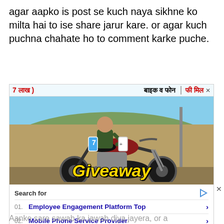agar aapko is post se kuch naya sikhne ko milta hai to ise share jarur kare. or agar kuch puchna chahate ho to comment karke puche.
[Figure (photo): Advertisement image showing a man sitting on a Royal Enfield motorcycle holding a smartphone, with Hindi text overlay reading '7 lakh', 'baik v phone', 'free milega' and 'Giveaway' text at the bottom in yellow. Below the image is a Yahoo Search sponsored section with two search items: 'Employee Engagement Platform Top' and 'Mobile Phone Service Provider'.]
Aanke sare sawab ka jawab diya jayera, or a